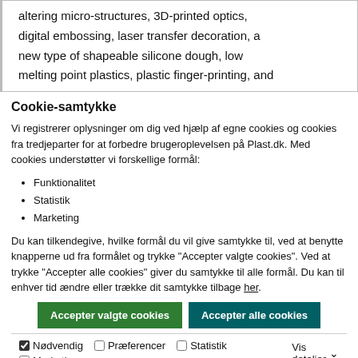altering micro-structures, 3D-printed optics, digital embossing, laser transfer decoration, a new type of shapeable silicone dough, low melting point plastics, plastic finger-printing, and
Cookie-samtykke
Vi registrerer oplysninger om dig ved hjælp af egne cookies og cookies fra tredjeparter for at forbedre brugeroplevelsen på Plast.dk. Med cookies understøtter vi forskellige formål:
Funktionalitet
Statistik
Marketing
Du kan tilkendegive, hvilke formål du vil give samtykke til, ved at benytte knapperne ud fra formålet og trykke "Accepter valgte cookies". Ved at trykke "Accepter alle cookies" giver du samtykke til alle formål. Du kan til enhver tid ændre eller trække dit samtykke tilbage her.
Accepter valgte cookies | Accepter alle cookies
Nødvendig  Præferencer  Statistik  Marketing  Vis detaljer